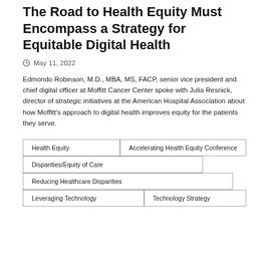The Road to Health Equity Must Encompass a Strategy for Equitable Digital Health
May 11, 2022
Edmondo Robinson, M.D., MBA, MS, FACP, senior vice president and chief digital officer at Moffitt Cancer Center spoke with Julia Resnick, director of strategic initiatives at the American Hospital Association about how Moffitt’s approach to digital health improves equity for the patients they serve.
Health Equity
Accelerating Health Equity Conference
Disparities/Equity of Care
Reducing Healthcare Disparities
Leveraging Technology
Technology Strategy